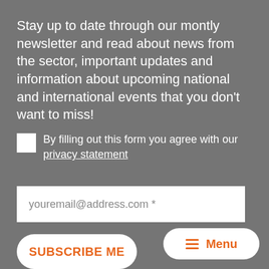Stay up to date through our montly newsletter and read about news from the sector, important updates and information about upcoming national and international events that you don’t want to miss!
By filling out this form you agree with our privacy statement
youremail@address.com *
SUBSCRIBE ME
Menu